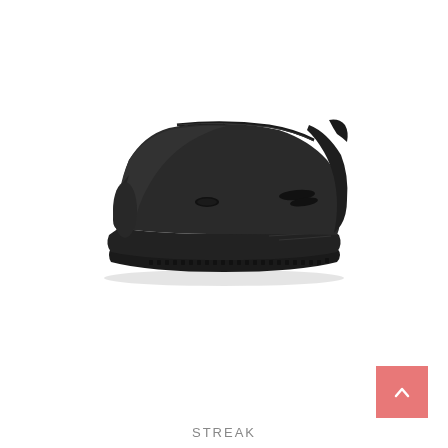[Figure (photo): Side profile of a black slip-on shoe (sneaker/clog style) with a chunky midsole, small oval ventilation cutout on the side, and textured rubber outsole. The shoe is photographed against a white background.]
STREAK